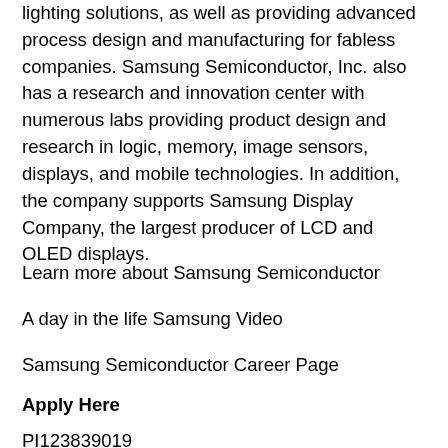lighting solutions, as well as providing advanced process design and manufacturing for fabless companies. Samsung Semiconductor, Inc. also has a research and innovation center with numerous labs providing product design and research in logic, memory, image sensors, displays, and mobile technologies. In addition, the company supports Samsung Display Company, the largest producer of LCD and OLED displays.
Learn more about Samsung Semiconductor
A day in the life Samsung Video
Samsung Semiconductor Career Page
Apply Here
PI123839019